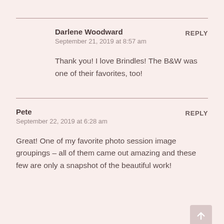Darlene Woodward
September 21, 2019 at 8:57 am
REPLY
Thank you! I love Brindles! The B&W was one of their favorites, too!
Pete
September 22, 2019 at 6:28 am
REPLY
Great! One of my favorite photo session image groupings – all of them came out amazing and these few are only a snapshot of the beautiful work!